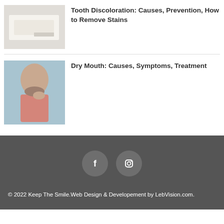[Figure (photo): Thumbnail image of tooth discoloration article]
Tooth Discoloration: Causes, Prevention, How to Remove Stains
[Figure (photo): Man touching chin, dry mouth article thumbnail]
Dry Mouth: Causes, Symptoms, Treatment
[Figure (other): Social media icons: Facebook and Instagram in circular buttons]
© 2022 Keep The Smile.Web Design & Developement by LebVision.com.